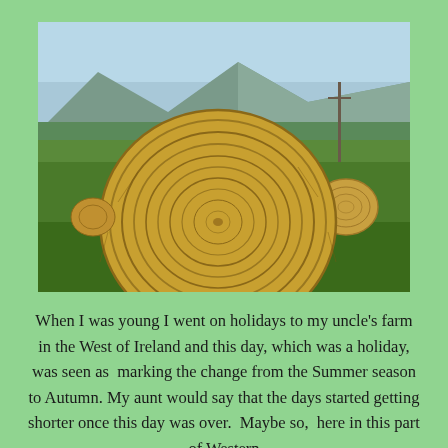[Figure (photo): Photograph of two round hay bales in a green field with mountains and a telephone pole in the background under a blue sky.]
When I was young I went on holidays to my uncle's farm in the West of Ireland and this day, which was a holiday, was seen as  marking the change from the Summer season to Autumn. My aunt would say that the days started getting shorter once this day was over.  Maybe so,  here in this part of Western